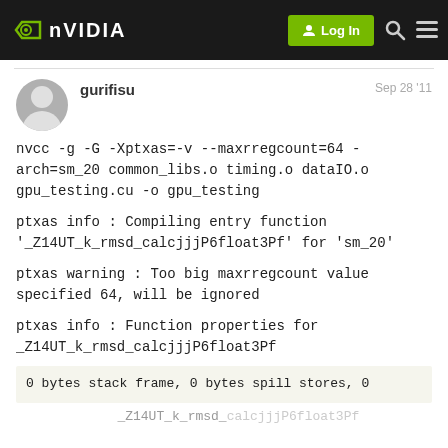NVIDIA | Log In
gurifisu  Sep 28 '11
nvcc -g -G -Xptxas=-v --maxrregcount=64 -arch=sm_20 common_libs.o timing.o dataIO.o gpu_testing.cu -o gpu_testing
ptxas info : Compiling entry function '_Z14UT_k_rmsd_calcjjjP6float3Pf' for 'sm_20'
ptxas warning : Too big maxrregcount value specified 64, will be ignored
ptxas info : Function properties for _Z14UT_k_rmsd_calcjjjP6float3Pf
0 bytes stack frame, 0 bytes spill stores, 0